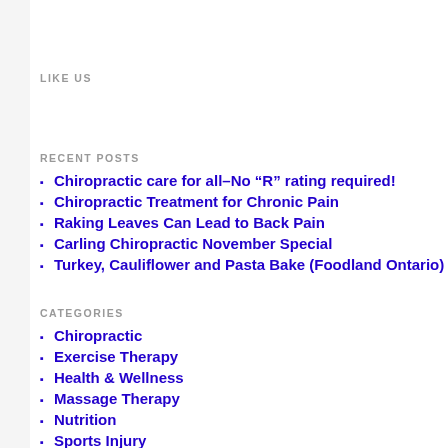LIKE US
RECENT POSTS
Chiropractic care for all–No “R” rating required!
Chiropractic Treatment for Chronic Pain
Raking Leaves Can Lead to Back Pain
Carling Chiropractic November Special
Turkey, Cauliflower and Pasta Bake (Foodland Ontario)
CATEGORIES
Chiropractic
Exercise Therapy
Health & Wellness
Massage Therapy
Nutrition
Sports Injury